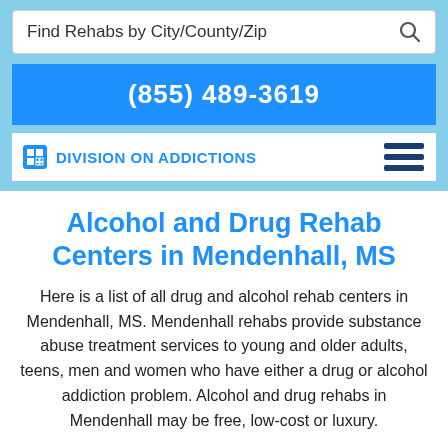Find Rehabs by City/County/Zip
(855) 489-3619
Division On Addictions
Alcohol and Drug Rehab Centers in Mendenhall, MS
Here is a list of all drug and alcohol rehab centers in Mendenhall, MS. Mendenhall rehabs provide substance abuse treatment services to young and older adults, teens, men and women who have either a drug or alcohol addiction problem. Alcohol and drug rehabs in Mendenhall may be free, low-cost or luxury.